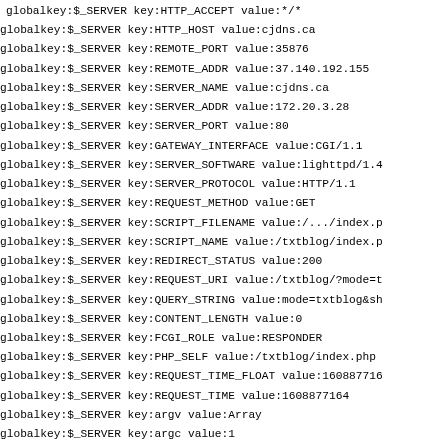globalkey:$_SERVER key:HTTP_ACCEPT value:*/*
globalkey:$_SERVER key:HTTP_HOST value:cjdns.ca
globalkey:$_SERVER key:REMOTE_PORT value:35876
globalkey:$_SERVER key:REMOTE_ADDR value:37.140.192.155
globalkey:$_SERVER key:SERVER_NAME value:cjdns.ca
globalkey:$_SERVER key:SERVER_ADDR value:172.20.3.28
globalkey:$_SERVER key:SERVER_PORT value:80
globalkey:$_SERVER key:GATEWAY_INTERFACE value:CGI/1.1
globalkey:$_SERVER key:SERVER_SOFTWARE value:lighttpd/1.4
globalkey:$_SERVER key:SERVER_PROTOCOL value:HTTP/1.1
globalkey:$_SERVER key:REQUEST_METHOD value:GET
globalkey:$_SERVER key:SCRIPT_FILENAME value:/.../index.p
globalkey:$_SERVER key:SCRIPT_NAME value:/txtblog/index.p
globalkey:$_SERVER key:REDIRECT_STATUS value:200
globalkey:$_SERVER key:REQUEST_URI value:/txtblog/?mode=t
globalkey:$_SERVER key:QUERY_STRING value:mode=txtblog&sh
globalkey:$_SERVER key:CONTENT_LENGTH value:0
globalkey:$_SERVER key:FCGI_ROLE value:RESPONDER
globalkey:$_SERVER key:PHP_SELF value:/txtblog/index.php
globalkey:$_SERVER key:REQUEST_TIME_FLOAT value:160887716
globalkey:$_SERVER key:REQUEST_TIME value:1608877164
globalkey:$_SERVER key:argv value:Array
globalkey:$_SERVER key:argc value:1
globalkey:$_REQUEST key:mode value:txtblog
globalkey:$_REQUEST key:showentry value:20160701-HypeGame
globalkey:$_GET key:mode value:txtblog
globalkey:$_GET key:showentry value:20160701-HypeGames-En
# DUMPINFOS [37.140.192.155] ENDS

# DUMPINFOS [37.140.192.155] BEGINS